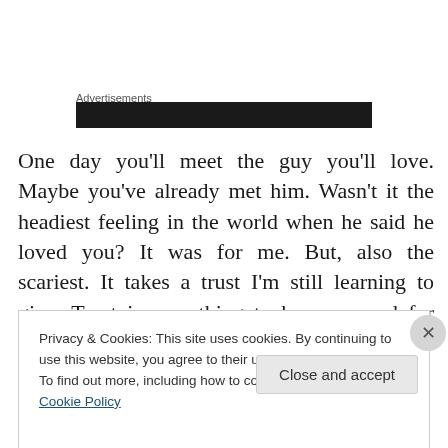Advertisements
[Figure (other): Black advertisement banner bar]
One day you'll meet the guy you'll love. Maybe you've already met him. Wasn't it the headiest feeling in the world when he said he loved you? It was for me. But, also the scariest. It takes a trust I'm still learning to give. Trust is something to be preserved for special people. Don't let love blind you from the wrongs. Always give yourself time
Privacy & Cookies: This site uses cookies. By continuing to use this website, you agree to their use.
To find out more, including how to control cookies, see here: Cookie Policy
Close and accept